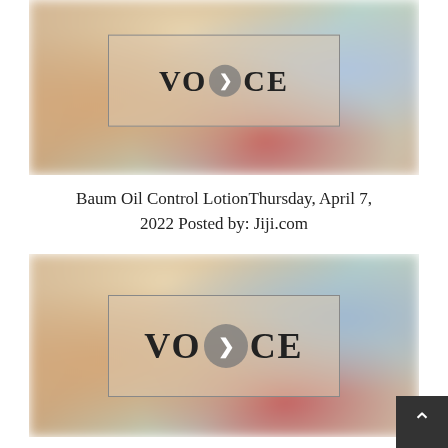[Figure (screenshot): Blurred background image with a centered rectangular border containing a VOICE logo with play button circle, partial view cut at top]
Baum Oil Control LotionThursday, April 7, 2022 Posted by: Jiji.com
[Figure (screenshot): Blurred background image with a centered rectangular border containing a VOICE logo with play button circle]
Cross-marketing research memo (3): Restructuring business units to respon…